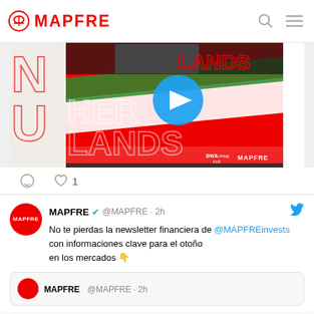MAPFRE
[Figure (photo): MAPFRE video thumbnail showing Netherlands F1 race promotional content with BWT Alpine F1 Team and MAPFRE logos, with a play button overlay]
1
MAPFRE @MAPFRE · 2h
No te pierdas la newsletter financiera de @MAPFREinvests con informaciones clave para el otoño
en los mercados 👇
MAPFRE  @MAPFRE · 2h